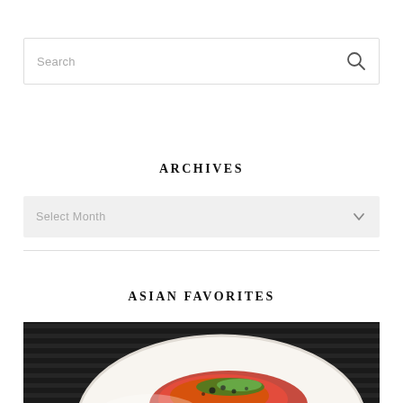Search
ARCHIVES
Select Month
ASIAN FAVORITES
[Figure (photo): A white plate with Asian food topped with a red sauce, green garnish, and black sesame seeds on a dark grill background]